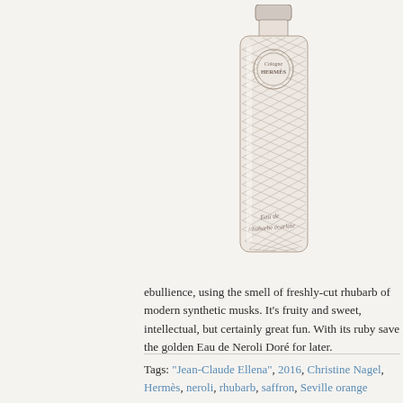[Figure (illustration): Pencil sketch illustration of a Hermès Cologne bottle labeled 'Eau de Rhubarbe Écarlate'. The tall rectangular bottle has a rounded cap and a circular Hermès Cologne emblem near the top, with cross-hatched shading throughout the body.]
ebullience, using the smell of freshly-cut rhubarb of modern synthetic musks. It's fruity and sweet, intellectual, but certainly great fun. With its ruby save the golden Eau de Neroli Doré for later.
Tags: "Jean-Claude Ellena", 2016, Christine Nagel, Hermès, neroli, rhubarb, saffron, Seville orange